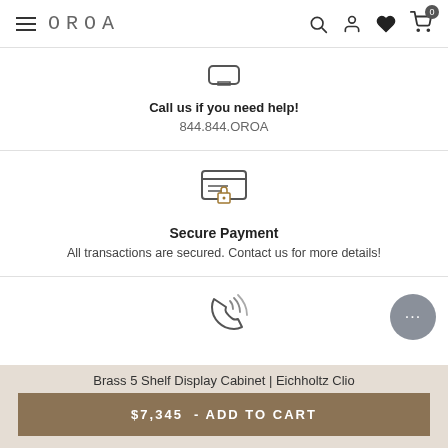OROA — Navigation header with menu, logo, search, account, wishlist, cart (0)
[Figure (illustration): Headset/phone support icon]
Call us if you need help!
844.844.OROA
[Figure (illustration): Secure payment icon: credit card with padlock]
Secure Payment
All transactions are secured. Contact us for more details!
[Figure (illustration): Phone/call icon with signal waves]
Brass 5 Shelf Display Cabinet | Eichholtz Clio
$7,345  - ADD TO CART